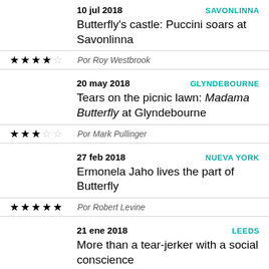10 jul 2018 — SAVONLINNA
Butterfly's castle: Puccini soars at Savonlinna
★★★★☆ Por Roy Westbrook
20 may 2018 — GLYNDEBOURNE
Tears on the picnic lawn: Madama Butterfly at Glyndebourne
★★★☆☆ Por Mark Pullinger
27 feb 2018 — NUEVA YORK
Ermonela Jaho lives the part of Butterfly
★★★★★ Por Robert Levine
21 ene 2018 — LEEDS
More than a tear-jerker with a social conscience
★★★★☆ Por Richard Wilcocks